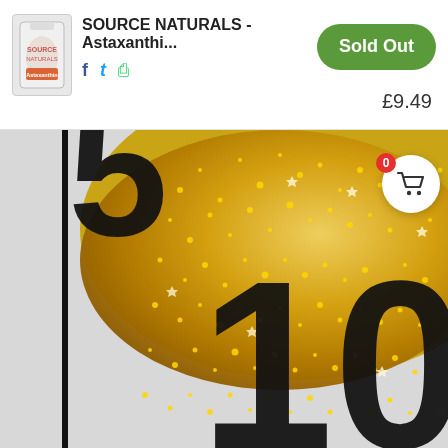[Figure (screenshot): Product listing screenshot showing SOURCE NATURALS - Astaxanthi... with product thumbnail, social share icons (Facebook, Twitter, WhatsApp), a green Sold Out button, price £9.49, and a large gold glitter promotional banner showing partial text '10' and a partial letter at top, with a shopping cart bubble overlay showing 0 items.]